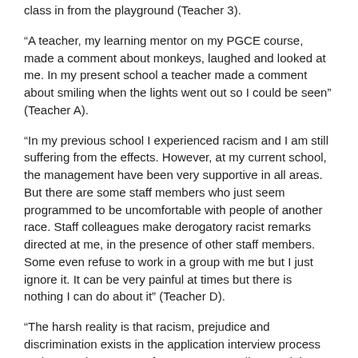class in from the playground (Teacher 3).
“A teacher, my learning mentor on my PGCE course, made a comment about monkeys, laughed and looked at me. In my present school a teacher made a comment about smiling when the lights went out so I could be seen” (Teacher A).
“In my previous school I experienced racism and I am still suffering from the effects. However, at my current school, the management have been very supportive in all areas. But there are some staff members who just seem programmed to be uncomfortable with people of another race. Staff colleagues make derogatory racist remarks directed at me, in the presence of other staff members. Some even refuse to work in a group with me but I just ignore it. It can be very painful at times but there is nothing I can do about it” (Teacher D).
“The harsh reality is that racism, prejudice and discrimination exists in the application interview process and even when you are fortunate to actually get a job as I have found to be true. The racism that I find myself in is happening all around me but it is wrong to speak out against it and you find yourself treading on thin ground. I have met colleagues that are very strong and good at their jobs who suffered at the hands of